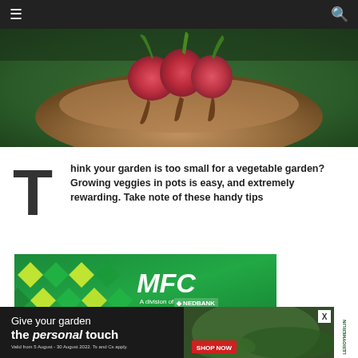≡  🔍
[Figure (photo): Close-up photo of a hand holding freshly picked radishes with roots and dirt against a green background]
Think your garden is too small for a vegetable garden? Growing veggies in pots is easy, and extremely rewarding. Take note of these handy tips
[Figure (logo): MFC - A division of Nedbank advertisement banner with green diamond pattern background]
[Figure (infographic): Bottom advertisement banner: Give your garden the personal touch - Valid from 5 August - 30 August 2022. Ts and Cs apply. SHOP NOW. Leroy Merlin logo.]